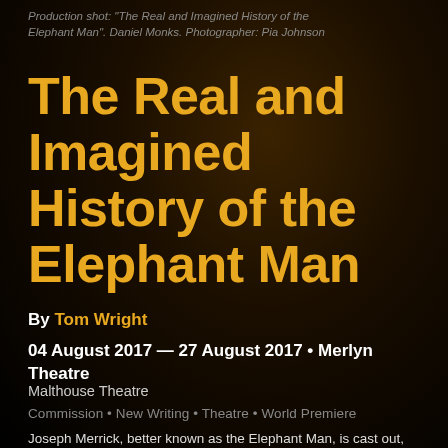Production shot: "The Real and Imagined History of the Elephant Man". Daniel Monks. Photographer: Pia Johnson
The Real and Imagined History of the Elephant Man
By Tom Wright
04 August 2017 — 27 August 2017  •  Merlyn Theatre
Malthouse Theatre
Commission  •  New Writing  •  Theatre  •  World Premiere
Joseph Merrick, better known as the Elephant Man, is cast out,